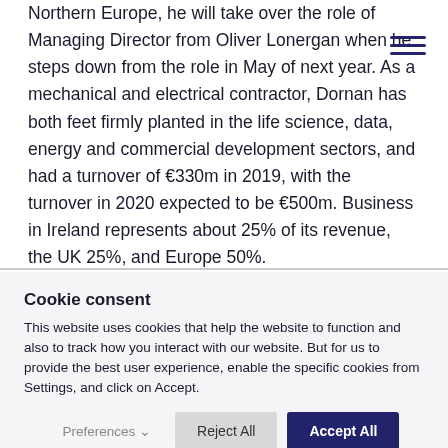Northern Europe, he will take over the role of Managing Director from Oliver Lonergan when he steps down from the role in May of next year. As a mechanical and electrical contractor, Dornan has both feet firmly planted in the life science, data, energy and commercial development sectors, and had a turnover of €330m in 2019, with the turnover in 2020 expected to be €500m. Business in Ireland represents about 25% of its revenue, the UK 25%, and Europe 50%.
Cookie consent
This website uses cookies that help the website to function and also to track how you interact with our website. But for us to provide the best user experience, enable the specific cookies from Settings, and click on Accept.
Preferences ∨   Reject All   Accept All